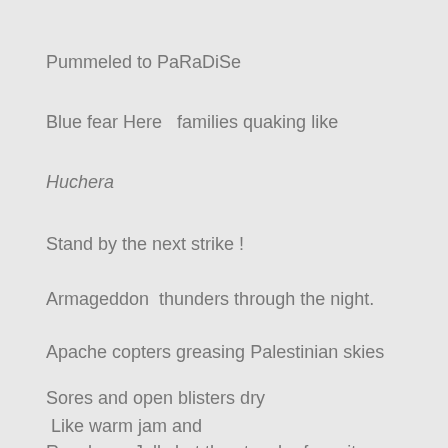Pummeled to PaRaDiSe
Blue fear Here  families quaking like
Huchera
Stand by the next strike !
Armageddon  thunders through the night.
Apache copters greasing Palestinian skies
Sores and open blisters dry
Like warm jam and
Raspberry Jelly but the stench of vomit